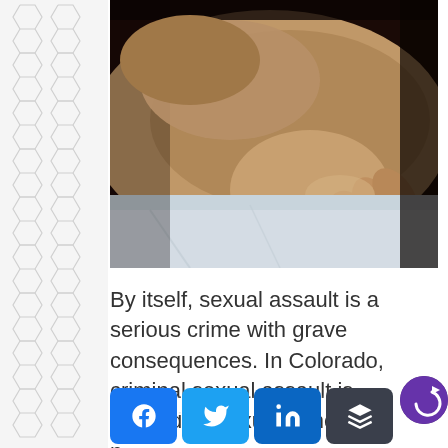[Figure (photo): Close-up photograph of hands gripping bedsheets, suggesting a scene related to sexual assault. Dark background on upper right, grey/white sheets visible at lower portion.]
By itself, sexual assault is a serious crime with grave consequences. In Colorado, criminal sexual assault is defined as sexual penetration
[Figure (infographic): Social media share buttons: Facebook (blue), Twitter (blue), LinkedIn (blue), Buffer/layers (dark grey)]